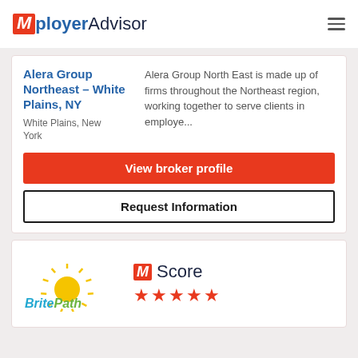Mployer Advisor
Alera Group Northeast – White Plains, NY
White Plains, New York
Alera Group North East is made up of firms throughout the Northeast region, working together to serve clients in employe...
View broker profile
Request Information
[Figure (logo): BritePath company logo with sunburst design]
M Score ★★★★★